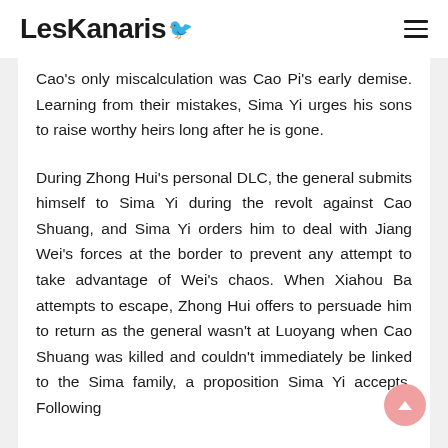LesKanaris
Cao's only miscalculation was Cao Pi's early demise. Learning from their mistakes, Sima Yi urges his sons to raise worthy heirs long after he is gone.
During Zhong Hui's personal DLC, the general submits himself to Sima Yi during the revolt against Cao Shuang, and Sima Yi orders him to deal with Jiang Wei's forces at the border to prevent any attempt to take advantage of Wei's chaos. When Xiahou Ba attempts to escape, Zhong Hui offers to persuade him to return as the general wasn't at Luoyang when Cao Shuang was killed and couldn't immediately be linked to the Sima family, a proposition Sima Yi accepts. Following